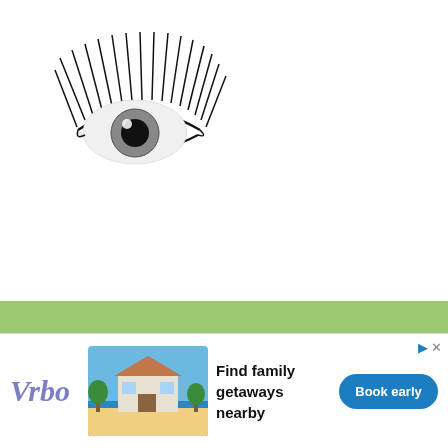[Figure (illustration): Illustration of a stylized eye with long black eyelashes on top and shorter lashes below, with a dark iris and white highlight on the pupil.]
Natural - Extensions which are short are applied by the inner most section of the eyes whilst a combination of long
[Figure (other): Advertisement banner for Vrbo featuring logo, a beach house image, text 'Find family getaways nearby', and a blue 'Book early' button.]